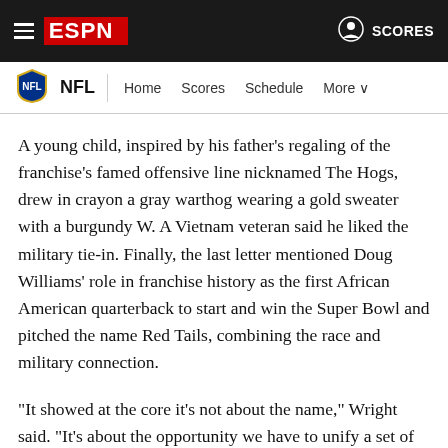ESPN — NFL | Home Scores Schedule More
A young child, inspired by his father's regaling of the franchise's famed offensive line nicknamed The Hogs, drew in crayon a gray warthog wearing a gold sweater with a burgundy W. A Vietnam veteran said he liked the military tie-in. Finally, the last letter mentioned Doug Williams' role in franchise history as the first African American quarterback to start and win the Super Bowl and pitched the name Red Tails, combining the race and military connection.
"It showed at the core it's not about the name," Wright said. "It's about the opportunity we have to unify a set of people under a burgundy-and-gold banner.... People still love this team."